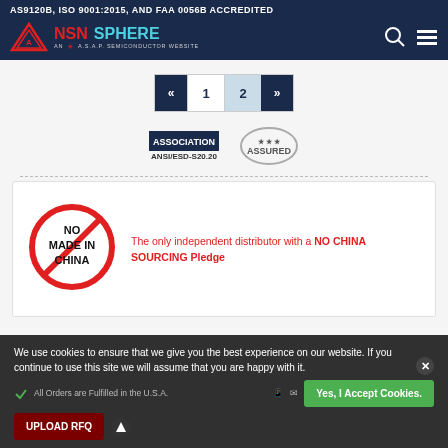AS9120B, ISO 9001:2015, AND FAA 0056B ACCREDITED
[Figure (logo): NSN SPHERE logo - AN A.S.A.P. SEMICONDUCTOR WEBSITE with triangle logo mark]
« 1 2 »
[Figure (logo): ASSOCIATION ANSI/ESD-S20.20 certification badge and ASSURED stamp]
[Figure (illustration): NO MADE IN CHINA circle-slash symbol in red]
The only independent distributor with a NO CHINA SOURCING Pledge
We use cookies to ensure that we give you the best experience on our website. If you continue to use this site we will assume that you are happy with it.
Yes, I Accept Cookies.
UPLOAD RFQ
All Orders are Fulfilled in the U.S.A.